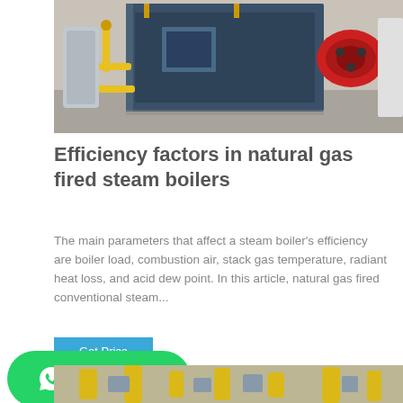[Figure (photo): Industrial natural gas fired steam boiler in a facility — large rectangular blue/dark metal boiler unit with yellow gas pipes and a red burner assembly attached to the front, concrete floor, grey walls.]
Efficiency factors in natural gas fired steam boilers
The main parameters that affect a steam boiler's efficiency are boiler load, combustion air, stack gas temperature, radiant heat loss, and acid dew point. In this article, natural gas fired conventional steam...
[Figure (photo): Partial view of industrial piping with yellow pipes and metal fittings inside a facility.]